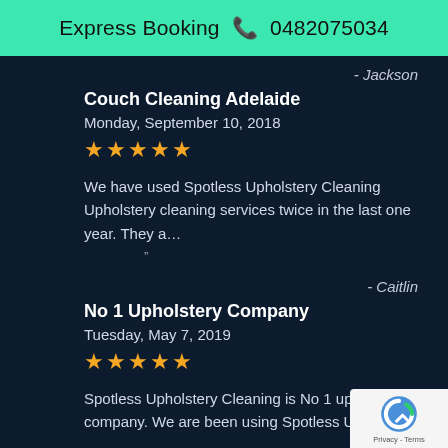Express Booking 📞 0482075034
- Jackson
Couch Cleaning Adelaide
Monday, September 10, 2018
★★★★★
We have used Spotless Upholstery Cleaning Upholstery cleaning services twice in the last one year. They a…
- Caitlin
No 1 Upholstery Company
Tuesday, May 7, 2019
★★★★★
Spotless Upholstery Cleaning is No 1 upholstery company. We are been using Spotless Upholstery